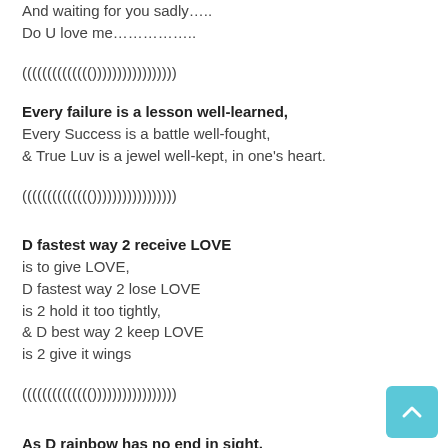And waiting for you sadly…..
Do U love me…………….
(((((((((((((())))))))))))))))))
Every failure is a lesson well-learned,
Every Success is a battle well-fought,
& True Luv is a jewel well-kept, in one's heart.
(((((((((((((())))))))))))))))))
D fastest way 2 receive LOVE
is to give LOVE,
D fastest way 2 lose LOVE
is 2 hold it too tightly,
& D best way 2 keep LOVE
is 2 give it wings
(((((((((((((())))))))))))))))))
As D rainbow has no end in sight,